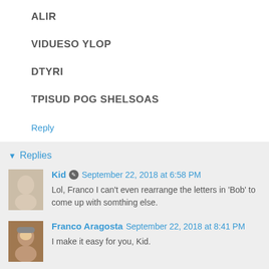ALIR
VIDUESO YLOP
DTYRI
TPISUD POG SHELSOAS
Reply
Replies
Kid  September 22, 2018 at 6:58 PM
Lol, Franco I can't even rearrange the letters in 'Bob' to come up with somthing else.
Franco Aragosta  September 22, 2018 at 8:41 PM
I make it easy for you, Kid.